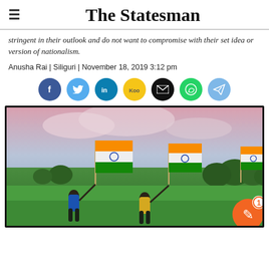The Statesman
stringent in their outlook and do not want to compromise with their set idea or version of nationalism.
Anusha Rai | Siliguri | November 18, 2019 3:12 pm
[Figure (infographic): Row of social media sharing icons: Facebook (dark blue), Twitter (light blue), LinkedIn (teal), Koo (yellow), Email (black), WhatsApp (green), Telegram (light blue)]
[Figure (photo): Children running across a green field carrying Indian national flags (tricolor: orange, white, green with Ashoka Chakra), with trees and a pinkish sky in the background.]